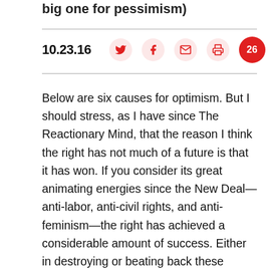big one for pessimism)
10.23.16
Below are six causes for optimism. But I should stress, as I have since The Reactionary Mind, that the reason I think the right has not much of a future is that it has won. If you consider its great animating energies since the New Deal—anti-labor, anti-civil rights, and anti-feminism—the right has achieved a considerable amount of success. Either in destroying or beating back these movements. So the hopefulness you read below, it needs to be remembered, is built on the ruins of the left. It reflects a considerable pessimism and arises from a sober realism about where we